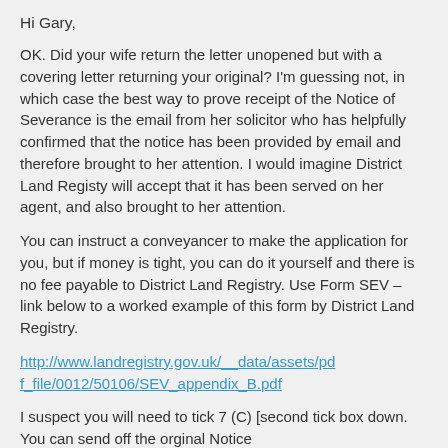Hi Gary,
OK. Did your wife return the letter unopened but with a covering letter returning your original? I'm guessing not, in which case the best way to prove receipt of the Notice of Severance is the email from her solicitor who has helpfully confirmed that the notice has been provided by email and therefore brought to her attention. I would imagine District Land Registy will accept that it has been served on her agent, and also brought to her attention.
You can instruct a conveyancer to make the application for you, but if money is tight, you can do it yourself and there is no fee payable to District Land Registry. Use Form SEV – link below to a worked example of this form by District Land Registry.
http://www.landregistry.gov.uk/__data/assets/pdf_file/0012/50106/SEV_appendix_B.pdf
I suspect you will need to tick 7 (C) [second tick box down. You can send off the orginal Notice